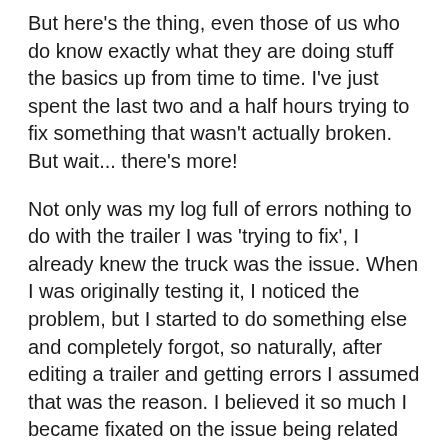But here's the thing, even those of us who do know exactly what they are doing stuff the basics up from time to time. I've just spent the last two and a half hours trying to fix something that wasn't actually broken. But wait... there's more!
Not only was my log full of errors nothing to do with the trailer I was 'trying to fix', I already knew the truck was the issue. When I was originally testing it, I noticed the problem, but I started to do something else and completely forgot, so naturally, after editing a trailer and getting errors I assumed that was the reason. I believed it so much I became fixated on the issue being related to the trailer that I couldn't see what was right in front of me. Even when things made no sense, the error linking to a file that the trailer doesn't even have, I was so fixated I couldn't see the truth.
Two and a half bloody hours to not only realise the